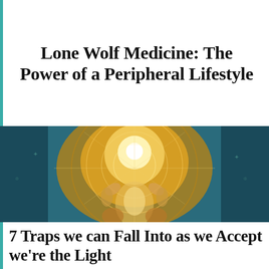Lone Wolf Medicine: The Power of a Peripheral Lifestyle
[Figure (illustration): Spiritual/mystic illustration of a glowing humanoid figure with raised hands, surrounded by geometric sacred geometry patterns and mandala-like circles, rendered in golden and teal tones]
7 Traps we can Fall Into as we Accept we're the Light